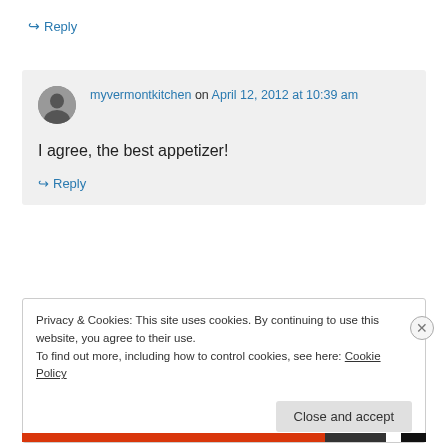↪ Reply
myvermontkitchen on April 12, 2012 at 10:39 am
I agree, the best appetizer!
↪ Reply
Privacy & Cookies: This site uses cookies. By continuing to use this website, you agree to their use. To find out more, including how to control cookies, see here: Cookie Policy
Close and accept